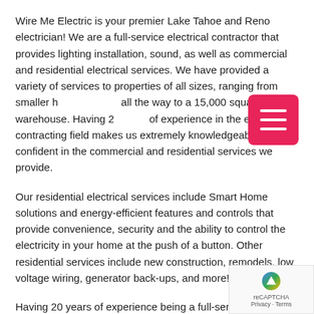Wire Me Electric is your premier Lake Tahoe and Reno electrician! We are a full-service electrical contractor that provides lighting installation, sound, as well as commercial and residential electrical services. We have provided a variety of services to properties of all sizes, ranging from smaller homes all the way to a 15,000 square foot warehouse. Having 20 years of experience in the electrical contracting field makes us extremely knowledgeable and confident in the commercial and residential services we provide.
Our residential electrical services include Smart Home solutions and energy-efficient features and controls that provide convenience, security and the ability to control the electricity in your home at the push of a button. Other residential services include new construction, remodels, low voltage wiring, generator back-ups, and more!
Having 20 years of experience being a full-service electrical contractor under our belts makes us extremely knowledgeable and confident in the commercial and residential electrical services we provide. Being a part of the electrical industry can